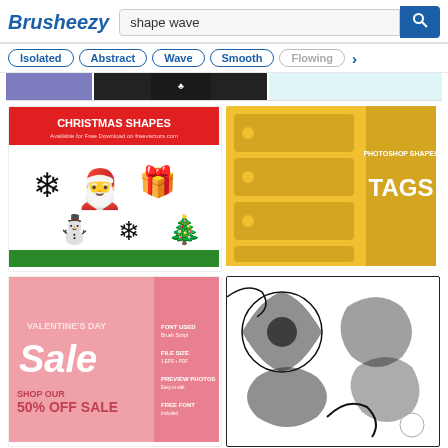Brusheezy — shape wave search results page
Isolated | Abstract | Wave | Smooth | Flowing
[Figure (screenshot): Brusheezy website showing search results for 'shape wave' with filter tags: Isolated, Abstract, Wave, Smooth, Flowing. Results include Christmas Shapes, Photoshop Shapes Tags, Valentine's Day Sale, floral decorative shapes, and partial thumbnail rows.]